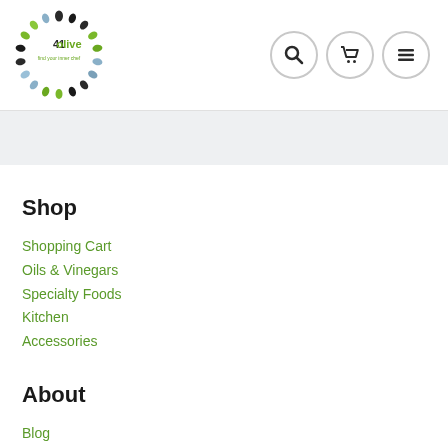[Figure (logo): 41olive logo — circular ring of olive shapes in black, green, and blue/grey colors with '41olive' text and 'find your inner chef' tagline]
[Figure (other): Navigation icons: search magnifying glass, shopping cart, and hamburger menu — each inside a circular border]
[Figure (other): Light gray banner/hero area]
Shop
Shopping Cart
Oils & Vinegars
Specialty Foods
Kitchen
Accessories
About
Blog